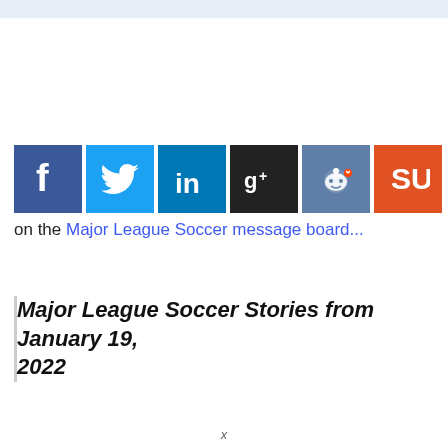[Figure (infographic): Row of six social media share buttons (Facebook, Twitter, LinkedIn, Google+, Reddit, StumbleUpon) followed by bullet point text '• Discuss this story']
on the Major League Soccer message board...
Major League Soccer Stories from January 19, 2022